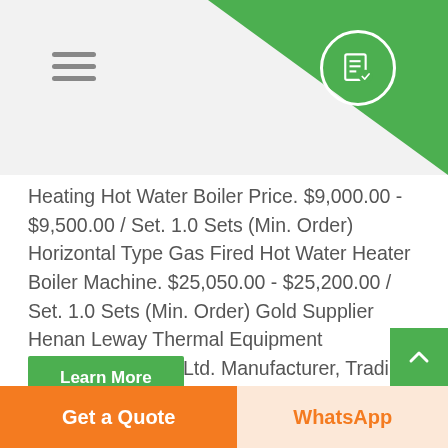[Figure (screenshot): Mobile website header with light grey background, green diagonal shape on top-right, hamburger menu icon on left, and a circular quote/document icon on the right inside the green area.]
Heating Hot Water Boiler Price. $9,000.00 - $9,500.00 / Set. 1.0 Sets (Min. Order) Horizontal Type Gas Fired Hot Water Heater Boiler Machine. $25,050.00 - $25,200.00 / Set. 1.0 Sets (Min. Order) Gold Supplier Henan Leway Thermal Equipment Manufacture Co., Ltd. Manufacturer, Trading Company.
[Figure (photo): Partial interior photo showing a building ceiling/interior with bright windows and industrial elements, cropped at the bottom of the page.]
Get a Quote   WhatsApp